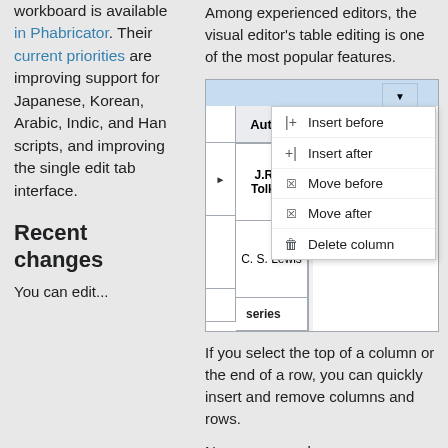workboard is available in Phabricator. Their current priorities are improving support for Japanese, Korean, Arabic, Indic, and Han scripts, and improving the single edit tab interface.
[Figure (screenshot): Screenshot of a visual editor table editing interface showing a dropdown context menu with options: Insert before, Insert after, Move before, Move after, Delete column. The table has an Author column with J.R.R. Tolkien and C. S. Lewis as entries.]
Among experienced editors, the visual editor's table editing is one of the most popular features.
If you select the top of a column or the end of a row, you can quickly insert and remove columns and rows.
Now, you can also rearrange columns and rows. Click "Move before" or "Move after" to swap the
Recent changes
You can edit...